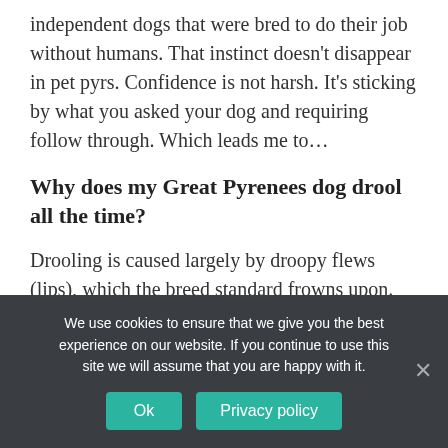independent dogs that were bred to do their job without humans. That instinct doesn't disappear in pet pyrs. Confidence is not harsh. It's sticking by what you asked your dog and requiring follow through. Which leads me to…
Why does my Great Pyrenees dog drool all the time?
Drooling is caused largely by droopy flews (lips), which the breed standard frowns upon. But any dogs with soft lips, such as retrievers, will drool somewhat when
We use cookies to ensure that we give you the best experience on our website. If you continue to use this site we will assume that you are happy with it.